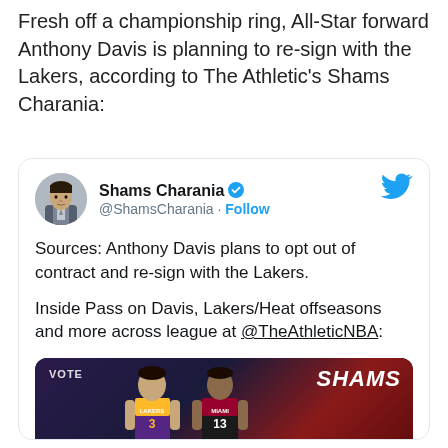Fresh off a championship ring, All-Star forward Anthony Davis is planning to re-sign with the Lakers, according to The Athletic's Shams Charania:
[Figure (screenshot): Embedded tweet from @ShamsCharania with verified badge and Twitter bird icon. Tweet text: 'Sources: Anthony Davis plans to opt out of contract and re-sign with the Lakers. Inside Pass on Davis, Lakers/Heat offseasons and more across league at @TheAthleticNBA:' Followed by a basketball game image showing Lakers #3 vs Miami Heat #13 with 'VOTE' and 'SHAMS' watermark text.]